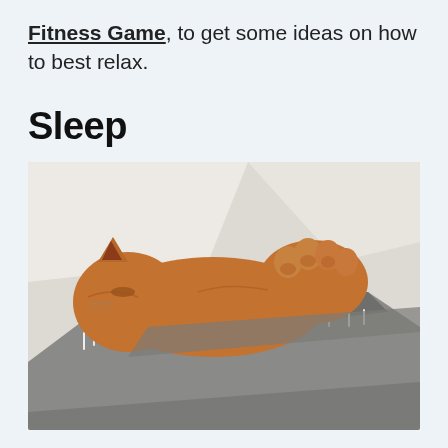Fitness Game, to get some ideas on how to best relax.
Sleep
[Figure (photo): A ginger cat sleeping tucked under a grey fringed blanket on white bedding, photographed from above.]